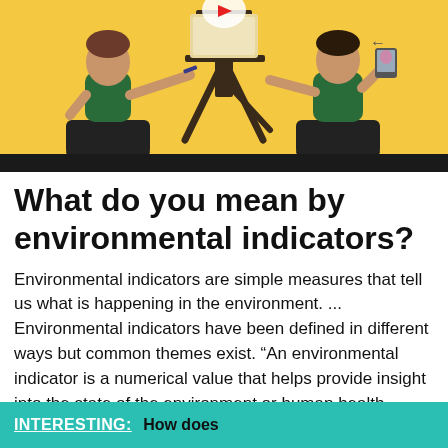[Figure (illustration): Illustrated scene showing two people at a desk/easel in an office setting. Left person writing on a document, right person holding a smartphone. Dark easel/board structure in center background. Warm yellow/orange background. Black bar at bottom of image.]
What do you mean by environmental indicators?
Environmental indicators are simple measures that tell us what is happening in the environment. ... Environmental indicators have been defined in different ways but common themes exist. “An environmental indicator is a numerical value that helps provide insight into the state of the environment or human health.
INTERESTING:  How does